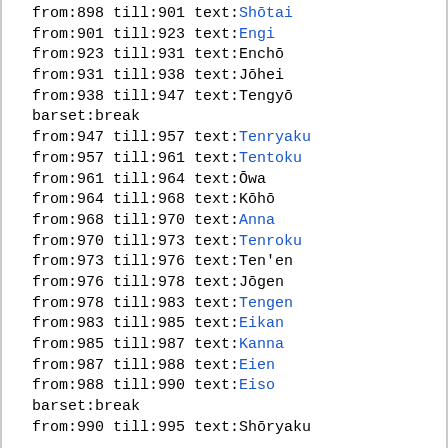from:898 till:901 text:Shōtai
from:901 till:923 text:Engi
from:923 till:931 text:Enchō
from:931 till:938 text:Jōhei
from:938 till:947 text:Tengyō
barset:break
from:947 till:957 text:Tenryaku
from:957 till:961 text:Tentoku
from:961 till:964 text:Ōwa
from:964 till:968 text:Kōhō
from:968 till:970 text:Anna
from:970 till:973 text:Tenroku
from:973 till:976 text:Ten'en
from:976 till:978 text:Jōgen
from:978 till:983 text:Tengen
from:983 till:985 text:Eikan
from:985 till:987 text:Kanna
from:987 till:988 text:Eien
from:988 till:990 text:Eiso
barset:break
from:990 till:995 text:Shōryaku